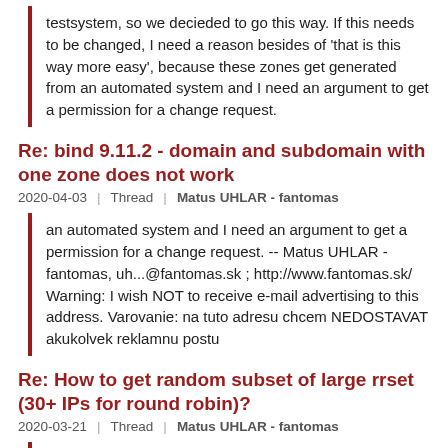testsystem, so we decieded to go this way. If this needs to be changed, I need a reason besides of 'that is this way more easy', because these zones get generated from an automated system and I need an argument to get a permission for a change request.
Re: bind 9.11.2 - domain and subdomain with one zone does not work
2020-04-03   Thread   Matus UHLAR - fantomas
an automated system and I need an argument to get a permission for a change request. -- Matus UHLAR - fantomas, uh...@fantomas.sk ; http://www.fantomas.sk/ Warning: I wish NOT to receive e-mail advertising to this address. Varovanie: na tuto adresu chcem NEDOSTAVAT akukolvek reklamnu postu
Re: How to get random subset of large rrset (30+ IPs for round robin)?
2020-03-21   Thread   Matus UHLAR - fantomas
list, but this sounds like an almost >perfect example of PowerDNS's LUA record type (or something with >CoreDNS) >Other than that, the only thing I can think of is BIND with DLZ and a database that returns a random subset from a